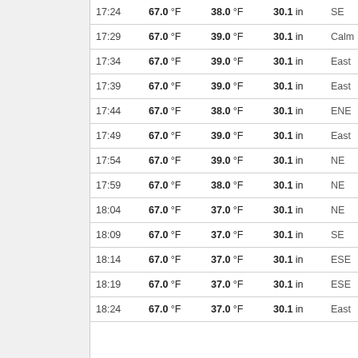| Time | Temp | Dew Point | Pressure | Direction | Speed |
| --- | --- | --- | --- | --- | --- |
| 17:24 | 67.0 °F | 38.0 °F | 30.1 in | SE | 2 mp |
| 17:29 | 67.0 °F | 39.0 °F | 30.1 in | Calm |  |
| 17:34 | 67.0 °F | 39.0 °F | 30.1 in | East | 4 mp |
| 17:39 | 67.0 °F | 39.0 °F | 30.1 in | East | 2 mp |
| 17:44 | 67.0 °F | 38.0 °F | 30.1 in | ENE | 2 mp |
| 17:49 | 67.0 °F | 39.0 °F | 30.1 in | East | 7 mp |
| 17:54 | 67.0 °F | 39.0 °F | 30.1 in | NE | 2 mp |
| 17:59 | 67.0 °F | 38.0 °F | 30.1 in | NE | 2 mp |
| 18:04 | 67.0 °F | 37.0 °F | 30.1 in | NE | 2 mp |
| 18:09 | 67.0 °F | 37.0 °F | 30.1 in | SE | 9 mp |
| 18:14 | 67.0 °F | 37.0 °F | 30.1 in | ESE | 6 mp |
| 18:19 | 67.0 °F | 37.0 °F | 30.1 in | ESE | 2 mp |
| 18:24 | 67.0 °F | 37.0 °F | 30.1 in | East | 9 mp |